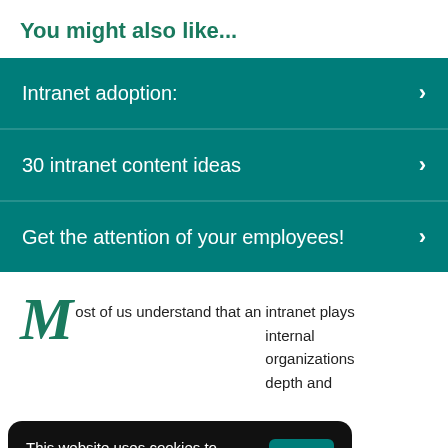You might also like...
Intranet adoption:
30 intranet content ideas
Get the attention of your employees!
Most of us understand that an intranet plays internal organizations depth and
This website uses cookies to deliver the best experience. Find out more.
OK